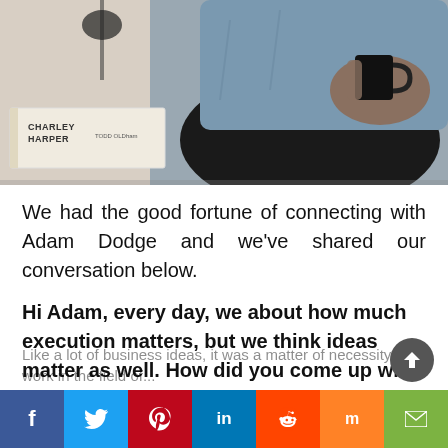[Figure (photo): Person sitting holding a black mug, with a Charley Harper book visible on a table in the foreground. Person is wearing a blue denim shirt.]
We had the good fortune of connecting with Adam Dodge and we've shared our conversation below.
Hi Adam, every day, we about how much execution matters, but we think ideas matter as well. How did you come up with the idea for your business?
Like a lot of business ideas, it was a matter of necessity. I work in the field of...